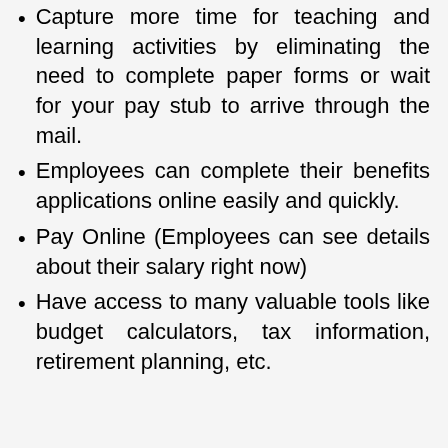Capture more time for teaching and learning activities by eliminating the need to complete paper forms or wait for your pay stub to arrive through the mail.
Employees can complete their benefits applications online easily and quickly.
Pay Online (Employees can see details about their salary right now)
Have access to many valuable tools like budget calculators, tax information, retirement planning, etc.